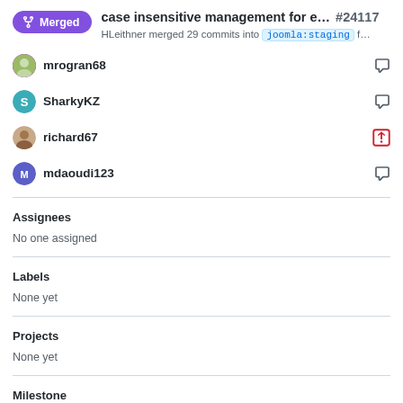case insensitive management for e... #24117 HLeithner merged 29 commits into joomla:staging f...
mrogran68
SharkyKZ
richard67
mdaoudi123
Assignees
No one assigned
Labels
None yet
Projects
None yet
Milestone